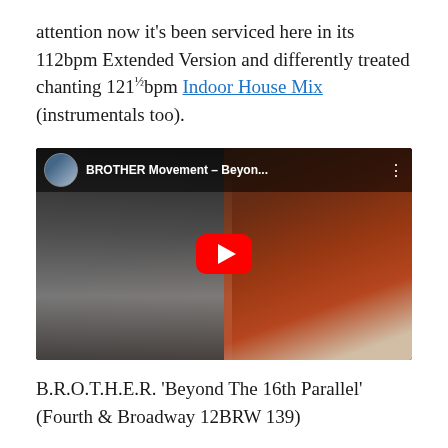attention now it's been serviced here in its 112bpm Extended Version and differently treated chanting 121½bpm Indoor House Mix (instrumentals too).
[Figure (screenshot): YouTube video thumbnail showing 'BROTHER Movement – Beyon...' with a dark video frame of people, a red YouTube play button in the center, and a top bar with channel avatar and title.]
B.R.O.T.H.E.R. 'Beyond The 16th Parallel' (Fourth & Broadway 12BRW 139)